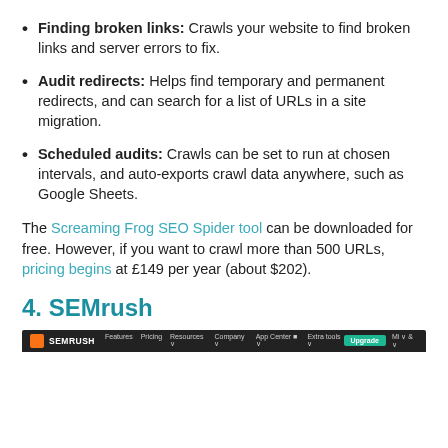Finding broken links: Crawls your website to find broken links and server errors to fix.
Audit redirects: Helps find temporary and permanent redirects, and can search for a list of URLs in a site migration.
Scheduled audits: Crawls can be set to run at chosen intervals, and auto-exports crawl data anywhere, such as Google Sheets.
The Screaming Frog SEO Spider tool can be downloaded for free. However, if you want to crawl more than 500 URLs, pricing begins at £149 per year (about $202).
4. SEMrush
[Figure (screenshot): Screenshot of SEMrush website navigation bar with dark background showing logo, nav items, and Upgrade button.]